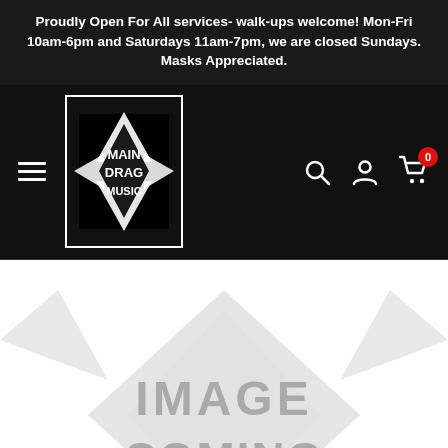Proudly Open For All services- walk-ups welcome! Mon-Fri 10am-6pm and Saturdays 11am-7pm, we are closed Sundays. Masks Appreciated.
[Figure (logo): Main Drag Music logo – black square rotated 45 degrees (diamond shape) with a 6-pointed star overlay and hand-lettered text reading MAIN DRAG MUSIC in white on black background]
[Figure (illustration): Large gray placeholder image showing the Main Drag Music logo watermark in light gray on white background, with text IMAGE COMING overlaid in large gray letters]